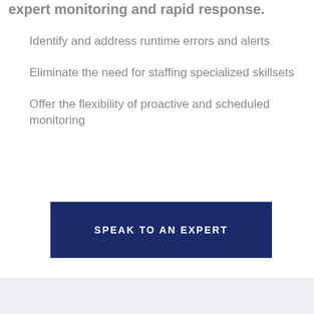expert monitoring and rapid response.
Identify and address runtime errors and alerts
Eliminate the need for staffing specialized skillsets
Offer the flexibility of proactive and scheduled monitoring
SPEAK TO AN EXPERT